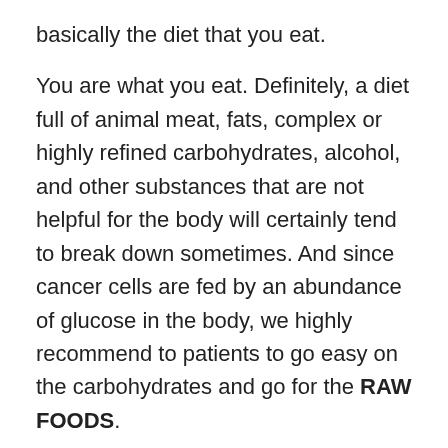basically the diet that you eat.
You are what you eat. Definitely, a diet full of animal meat, fats, complex or highly refined carbohydrates, alcohol, and other substances that are not helpful for the body will certainly tend to break down sometimes. And since cancer cells are fed by an abundance of glucose in the body, we highly recommend to patients to go easy on the carbohydrates and go for the RAW FOODS.
Why Raw Foods?
Simply put, when your oncologist prescribes you